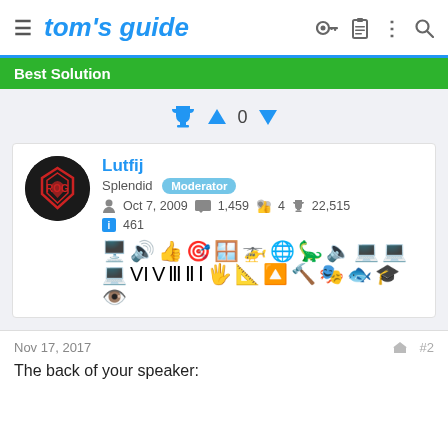tom's guide
Best Solution
[Figure (screenshot): User profile card for Lutfij showing trophy/vote icons (0 votes), avatar, username, rank (Splendid, Moderator badge), join date Oct 7, 2009, stats: 1,459 messages, 4 likes, 22,515 trophy points, 461 solutions, and a row of achievement badge icons.]
Nov 17, 2017
#2
The back of your speaker: